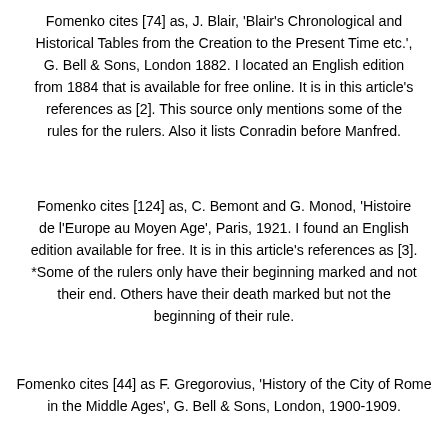Fomenko cites [74] as, J. Blair, 'Blair's Chronological and Historical Tables from the Creation to the Present Time etc.', G. Bell & Sons, London 1882. I located an English edition from 1884 that is available for free online. It is in this article's references as [2]. This source only mentions some of the rules for the rulers. Also it lists Conradin before Manfred.
Fomenko cites [124] as, C. Bemont and G. Monod, 'Histoire de l'Europe au Moyen Age', Paris, 1921. I found an English edition available for free. It is in this article's references as [3]. *Some of the rulers only have their beginning marked and not their end. Others have their death marked but not the beginning of their rule.
Fomenko cites [44] as F. Gregorovius, 'History of the City of Rome in the Middle Ages', G. Bell & Sons, London, 1900-1909.